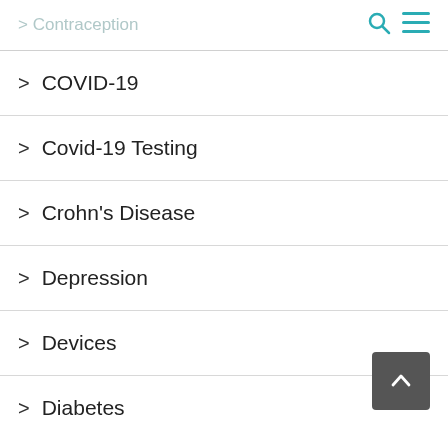> Contraception
> COVID-19
> Covid-19 Testing
> Crohn's Disease
> Depression
> Devices
> Diabetes